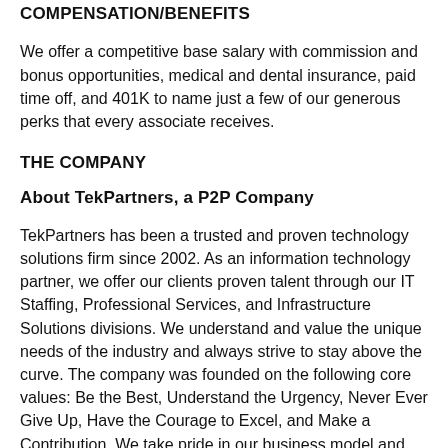COMPENSATION/BENEFITS
We offer a competitive base salary with commission and bonus opportunities, medical and dental insurance, paid time off, and 401K to name just a few of our generous perks that every associate receives.
THE COMPANY
About TekPartners, a P2P Company
TekPartners has been a trusted and proven technology solutions firm since 2002. As an information technology partner, we offer our clients proven talent through our IT Staffing, Professional Services, and Infrastructure Solutions divisions. We understand and value the unique needs of the industry and always strive to stay above the curve. The company was founded on the following core values: Be the Best, Understand the Urgency, Never Ever Give Up, Have the Courage to Excel, and Make a Contribution. We take pride in our business model and strive to create a positive workplace environment through